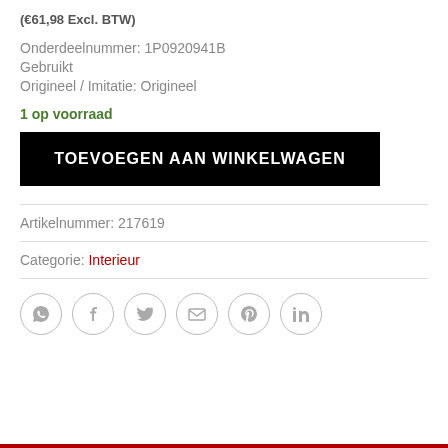(€61,98 Excl. BTW)
Onderdeelnummer: 1P0920941B
Gebruikt
Origineel / Imitatie: Origineel
1 op voorraad
TOEVOEGEN AAN WINKELWAGEN
Artikelnummer: 217619
Categorie: Interieur
[Figure (other): Social sharing icons: WhatsApp, Facebook, Twitter, Email, Pinterest, LinkedIn — circular outlined icons in a row]